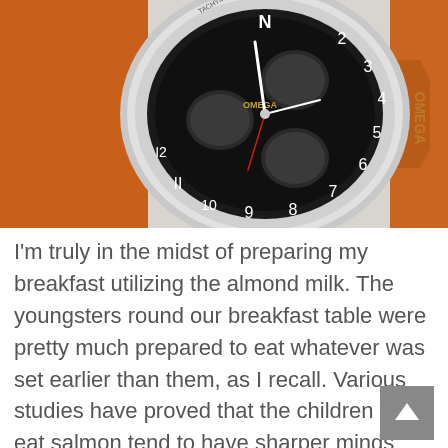[Figure (photo): Close-up photo of an Omega chronograph watch with a black dial featuring sub-dials and white numerals, on an orange rubber strap. The watch is photographed at an angle against a light grey background.]
I'm truly in the midst of preparing my breakfast utilizing the almond milk. The youngsters round our breakfast table were pretty much prepared to eat whatever was set earlier than them, as I recall. Various studies have proved that the children who eat salmon tend to have sharper minds and do higher in psychological ability-primarily based assessments. Folic Acid – This supplement is a will need to have. Having one meat-free meal per week (for a household of 4) can have the identical influence as driving a hybrid